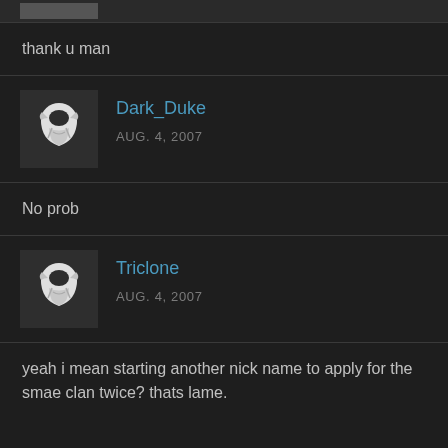thank u man
Dark_Duke
AUG. 4, 2007
No prob
Triclone
AUG. 4, 2007
yeah i mean starting another nick name to apply for the smae clan twice? thats lame.